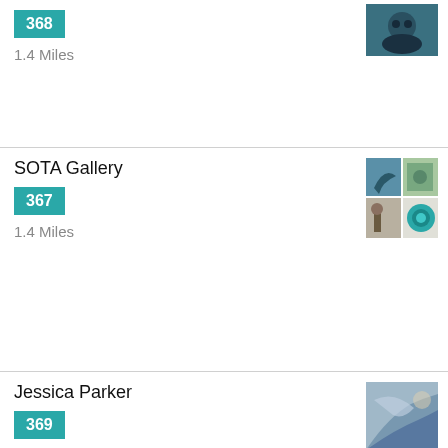[Figure (photo): Small thumbnail image of artwork (dark tones, circular face) shown at top right]
368
1.4 Miles
SOTA Gallery
[Figure (photo): Two-by-two grid of small artwork thumbnails for SOTA Gallery shown at right]
367
1.4 Miles
Jessica Parker
[Figure (photo): Single artwork thumbnail image for Jessica Parker shown at right]
369
We use cookies on this site to enhance your user experience
By clicking any link on this page you are giving your consent for us to set cookies.
More info
OK, I agree
Decline